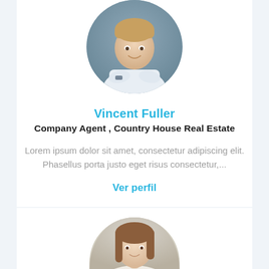[Figure (photo): Circular portrait photo of a young man with arms crossed, wearing a light blue shirt, smiling, against a grey-blue background]
Vincent Fuller
Company Agent , Country House Real Estate
Lorem ipsum dolor sit amet, consectetur adipiscing elit. Phasellus porta justo eget risus consectetur,...
Ver perfil
[Figure (photo): Partial circular portrait photo of a young woman with long brown hair, smiling, against a light grey background — cropped at bottom of page]